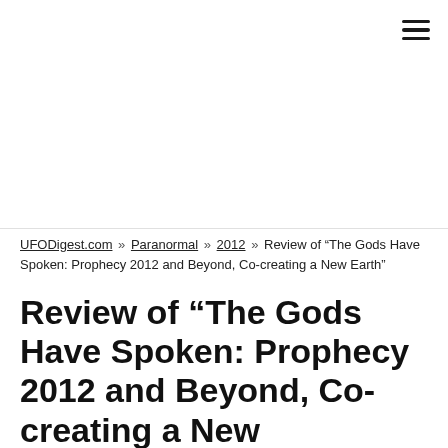☰ (hamburger menu icon)
UFODigest.com » Paranormal » 2012 » Review of “The Gods Have Spoken: Prophecy 2012 and Beyond, Co-creating a New Earth”
Review of “The Gods Have Spoken: Prophecy 2012 and Beyond, Co-creating a New…